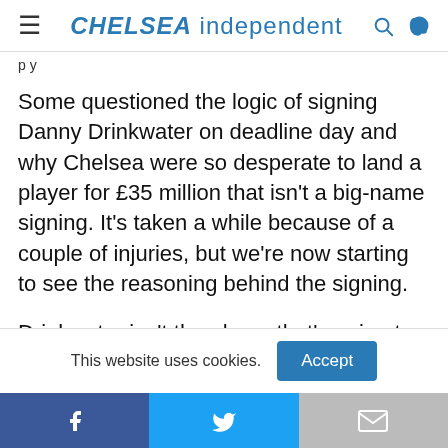CHELSEA independent
p y
Some questioned the logic of signing Danny Drinkwater on deadline day and why Chelsea were so desperate to land a player for £35 million that isn't a big-name signing. It's taken a while because of a couple of injuries, but we're now starting to see the reasoning behind the signing.
Drinkwater isn't the player that's going to top assist
This website uses cookies.
Accept